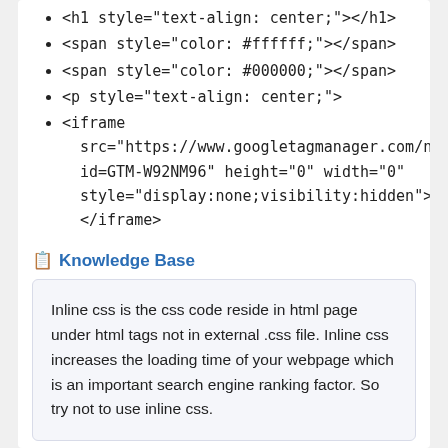<h1 style="text-align: center;"></h1>
<span style="color: #ffffff;"></span>
<span style="color: #000000;"></span>
<p style="text-align: center;">
<iframe src="https://www.googletagmanager.com/ns.html?id=GTM-W92NM96" height="0" width="0" style="display:none;visibility:hidden"></iframe>
Knowledge Base
Inline css is the css code reside in html page under html tags not in external .css file. Inline css increases the loading time of your webpage which is an important search engine ranking factor. So try not to use inline css.